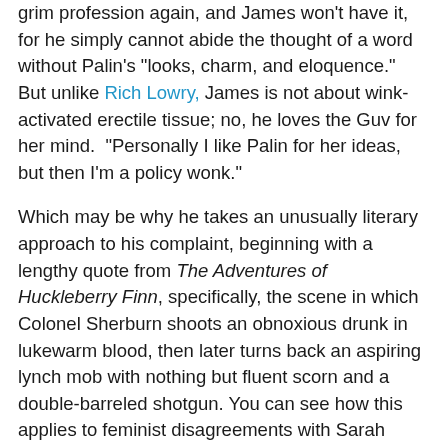grim profession again, and James won't have it, for he simply cannot abide the thought of a word without Palin's "looks, charm, and eloquence."  But unlike Rich Lowry, James is not about wink-activated erectile tissue; no, he loves the Guv for her mind.  "Personally I like Palin for her ideas, but then I'm a policy wonk."
Which may be why he takes an unusually literary approach to his complaint, beginning with a lengthy quote from The Adventures of Huckleberry Finn, specifically, the scene in which Colonel Sherburn shoots an obnoxious drunk in lukewarm blood, then later turns back an aspiring lynch mob with nothing but fluent scorn and a double-barreled shotgun. You can see how this applies to feminist disagreements with Sarah Palin.
Sarah Palin's Grace Under Pressure
That's the John Wayne scene you've watched in a hundred Westerns, but it's now happening in reality. I think Sarah Palin, Michele Bachmann, Herman Cain, and the other conservative